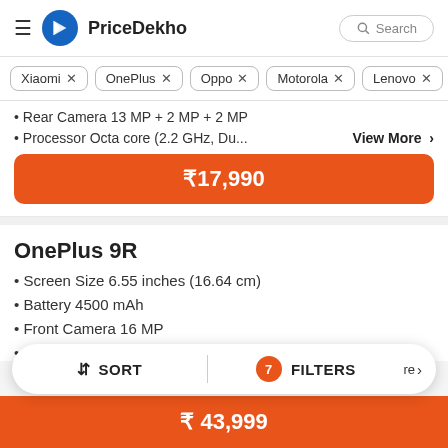PriceDekho
Xiaomi ×
OnePlus ×
Oppo ×
Motorola ×
Lenovo ×
Rear Camera 13 MP + 2 MP + 2 MP
Processor Octa core (2.2 GHz, Du...
₹17,990
OnePlus 9R
Screen Size 6.55 inches (16.64 cm)
Battery 4500 mAh
Front Camera 16 MP
RAM 12 GB
↕ SORT   7 FILTERS
₹43,999